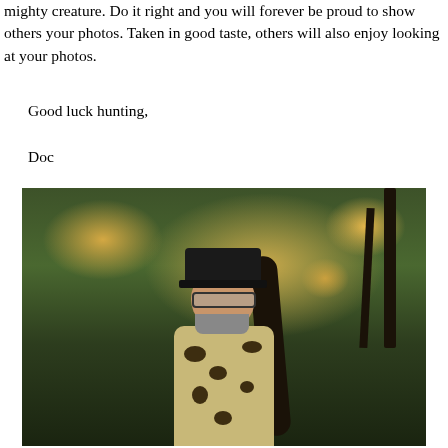mighty creature. Do it right and you will forever be proud to show others your photos. Taken in good taste, others will also enjoy looking at your photos.
Good luck hunting,
Doc
[Figure (photo): A man in camouflage clothing and a dark baseball cap, wearing glasses and a beard, standing outdoors in an autumn forest with colorful foliage. He appears to have a bow or equipment on his back.]